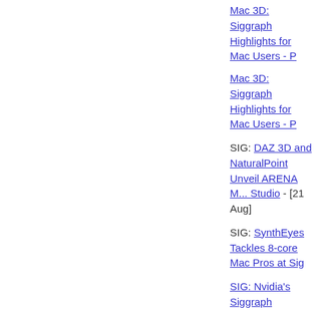Mac 3D: Siggraph Highlights for Mac Users - P...
Mac 3D: Siggraph Highlights for Mac Users - P...
SIG: DAZ 3D and NaturalPoint Unveil ARENA ... Studio - [21 Aug]
SIG: SynthEyes Tackles 8-core Mac Pros at Sig...
SIG: Nvidia's Siggraph Announcements - Roun...
SIGGRAPH Feature: Architosh Talks to Robert... more... - [15 Aug] Hot!
SIG: Luxology's modo rendering engine license... Aug]
Mac 3D: Siggraph Highlights for Mac Users - P...
Mac 3D: Siggraph Highlights for Mac Users - P...
SIG: BonZai 3D to be previewed at SIGGRAPH...
News & Reports
Over Clocked Mac Pros Now Possible - Ready...
Mac CAD: Ashlar-Vellum Graphite v8 SP1 Beta...